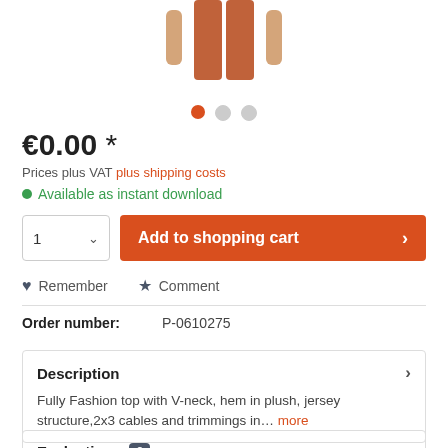[Figure (photo): Fashion model wearing orange/rust colored top and pants, cropped showing lower body and legs]
€0.00 *
Prices plus VAT plus shipping costs
Available as instant download
Add to shopping cart
Remember   Comment
Order number: P-0610275
Description
Fully Fashion top with V-neck, hem in plush, jersey structure,2x3 cables and trimmings in... more
Evaluations 0